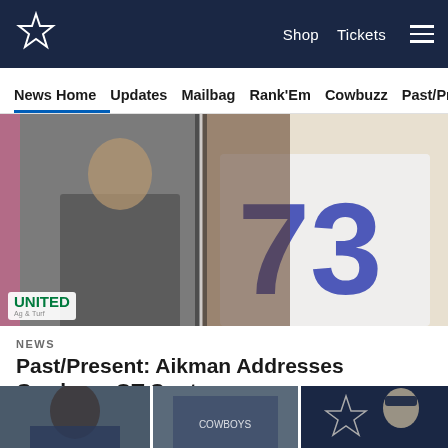Dallas Cowboys – Shop | Tickets | Navigation
News Home | Updates | Mailbag | Rank'Em | Cowbuzz | Past/Pres
[Figure (photo): Sports photo showing a person in a suit on the left and a football player wearing jersey number 73 on the right, with United Ag & Turf logo overlay]
NEWS
Past/Present: Aikman Addresses Cowboys OT Spot
The Pro Football Hall of Fame is making some changes this year, with hopes of adding more players, especially in the "Seniors" and "Coaches/Contributors" categories.
[Figure (photo): Three thumbnail images at bottom showing football players and Dallas Cowboys branding]
[Figure (infographic): Social sharing icons: Facebook, Twitter, Email, Link]